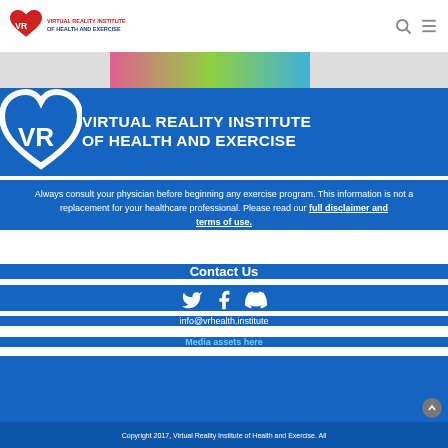Virtual Reality Institute of Health and Exercise
[Figure (illustration): Colorful horizontal image strip showing partial banner image]
[Figure (logo): Virtual Reality Institute of Health and Exercise blue banner logo with VR heart logo and white bold text]
Always consult your physician before beginning any exercise program. This information is not a replacement for your healthcare professional. Please read our full disclaimer and terms of use.
Contact Us
[Figure (infographic): Social media icons: Twitter, Facebook, Discord]
info@vrhealth.institute
Media assets here
Copyright 2017, Virtual Reality Institute of Health and Exercise. All